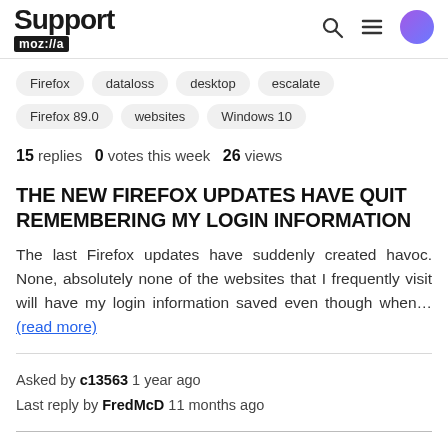Support moz://a
Firefox  dataloss  desktop  escalate
Firefox 89.0  websites  Windows 10
15 replies  0 votes this week  26 views
THE NEW FIREFOX UPDATES HAVE QUIT REMEMBERING MY LOGIN INFORMATION
The last Firefox updates have suddenly created havoc. None, absolutely none of the websites that I frequently visit will have my login information saved even though when... (read more)
Asked by c13563 1 year ago
Last reply by FredMcD 11 months ago
[Figure (other): Mozilla support library icon (three vertical bars suggesting books on a shelf)]